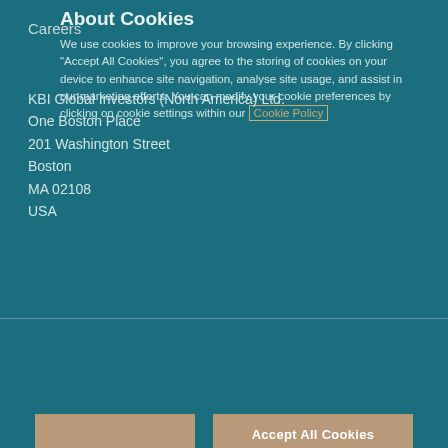Careers
KBI Global Investors (North America) Ltd.
One Boston Place
201 Washington Street
Boston
MA 02108
USA
About Cookies
We use cookies to improve your browsing experience. By clicking "Accept All Cookies", you agree to the storing of cookies on your device to enhance site navigation, analyse site usage, and assist in our marketing efforts. You can modify your cookie preferences by clicking on cookie settings within our Cookie Policy
Accept All Cookies